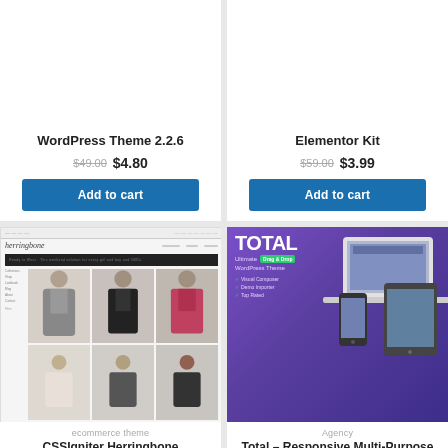WordPress Theme 2.2.6
$49.00 $4.80
Add to cart
Elementor Kit
$59.00 $3.99
Add to cart
[Figure (screenshot): CSSIgniter Herringbone ecommerce theme screenshot showing fashion product listings]
ecommerce theme
CSSIgniter Herringbone WordPress Theme 2.7.8
$49.00 $3.99
Add to cart
[Figure (screenshot): Total Responsive Multi-Purpose WordPress Theme promotional banner with purple background and device mockups]
Agency
Total – Responsive Multi-Purpose WordPress Theme 5.2.0
$59.00 $4.25
Add to cart